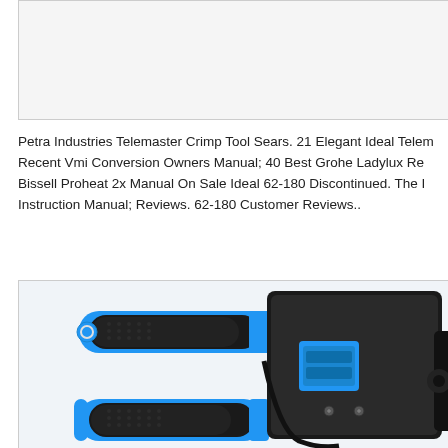[Figure (photo): Top image placeholder box, light gray background with border]
Petra Industries Telemaster Crimp Tool Sears. 21 Elegant Ideal Telem Recent Vmi Conversion Owners Manual; 40 Best Grohe Ladylux Re Bissell Proheat 2x Manual On Sale Ideal 62-180 Discontinued. The I Instruction Manual; Reviews. 62-180 Customer Reviews..
[Figure (photo): Photo of a blue and black crimp tool (network cable crimper) with ergonomic blue rubber grip handles and crimping head mechanism]